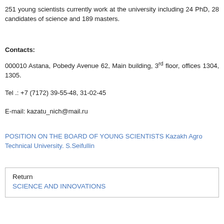251 young scientists currently work at the university including 24 PhD, 28 candidates of science and 189 masters.
Contacts:
000010 Astana, Pobedy Avenue 62, Main building, 3rd floor, offices 1304, 1305.
Tel .: +7 (7172) 39-55-48, 31-02-45
E-mail: kazatu_nich@mail.ru
POSITION ON THE BOARD OF YOUNG SCIENTISTS Kazakh Agro Technical University. S.Seifullin
Return
SCIENCE AND INNOVATIONS